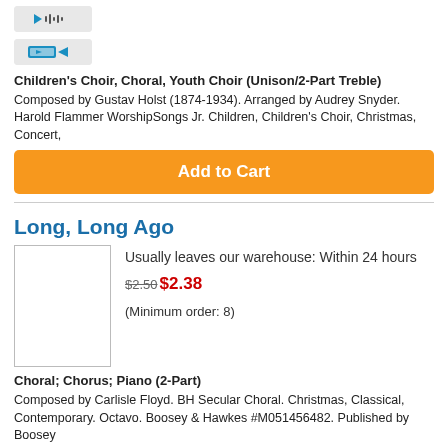[Figure (screenshot): Audio player icon button (gray rounded rectangle with speaker/audio icon)]
[Figure (screenshot): Video player icon button (gray rounded rectangle with play/video icon)]
Children's Choir, Choral, Youth Choir (Unison/2-Part Treble) Composed by Gustav Holst (1874-1934). Arranged by Audrey Snyder. Harold Flammer WorshipSongs Jr. Children, Children's Choir, Christmas, Concert,
Add to Cart
Long, Long Ago
[Figure (photo): Product image placeholder (white rectangle with border)]
Usually leaves our warehouse: Within 24 hours
$2.50 $2.38
(Minimum order: 8)
Choral; Chorus; Piano (2-Part) Composed by Carlisle Floyd. BH Secular Choral. Christmas, Classical, Contemporary. Octavo. Boosey & Hawkes #M051456482. Published by Boosey
Add to Cart